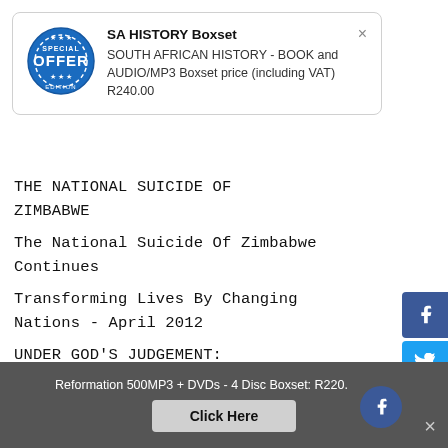[Figure (infographic): Popup advertisement box: SA HISTORY Boxset - SOUTH AFRICAN HISTORY - BOOK and AUDIO/MP3 Boxset price (including VAT) R240.00, with a blue Special Offer circular stamp icon and a close (×) button.]
THE NATIONAL SUICIDE OF ZIMBABWE
The National Suicide Of Zimbabwe Continues
Transforming Lives By Changing Nations - April 2012
UNDER GOD'S JUDGEMENT: ZIMBABWE
Victims Of Communism In Zimbabwe
Why Talks With ZANU-PF Have Failed
Reformation 500MP3 + DVDs - 4 Disc Boxset: R220.   Click Here